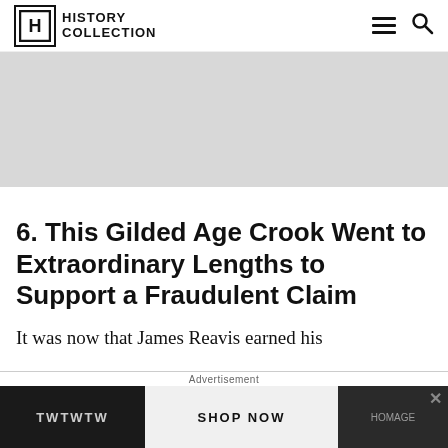HISTORY COLLECTION
[Figure (other): Gray advertisement placeholder banner]
6. This Gilded Age Crook Went to Extraordinary Lengths to Support a Fraudulent Claim
It was now that James Reavis earned his
[Figure (other): Advertisement banner: TWTWTW SHOP NOW with watch image, close button, and Advertisement label]